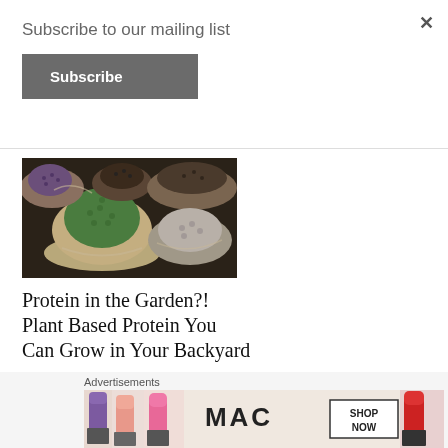Subscribe to our mailing list
Subscribe
[Figure (photo): Bags of various seeds and legumes — green, purple, dark brown, and grey varieties viewed from above]
Protein in the Garden?! Plant Based Protein You Can Grow in Your Backyard
April 30, 2019
Advertisements
[Figure (photo): MAC cosmetics advertisement banner showing lipsticks in purple, pink, and red with MAC logo and SHOP NOW button]